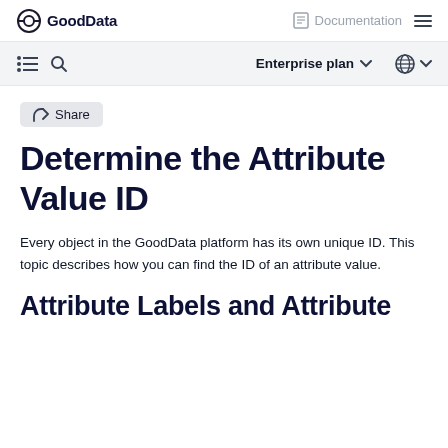GoodData  Documentation ≡
≡ 🔍  Enterprise plan ∨  🌐 ∨
Share
Determine the Attribute Value ID
Every object in the GoodData platform has its own unique ID. This topic describes how you can find the ID of an attribute value.
Attribute Labels and Attribute